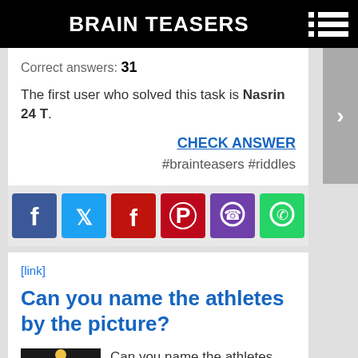BRAIN TEASERS
Correct answers: 31
The first user who solved this task is Nasrin 24 T.
CHECK ANSWER
#brainteasers #riddles
[Figure (other): Social media share buttons: Facebook, Twitter, Flipboard, Pinterest, Viber, WhatsApp]
[link]
Can you name the athletes by the picture?
Can you name the athletes